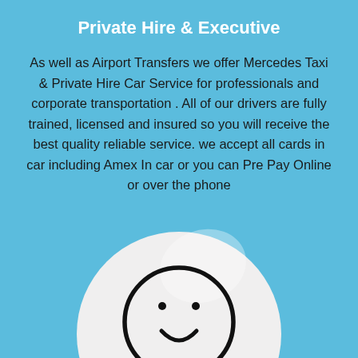Private Hire & Executive
As well as Airport Transfers we offer Mercedes Taxi & Private Hire Car Service for professionals and corporate transportation . All of our drivers are fully trained, licensed and insured so you will receive the best quality reliable service. we accept all cards in car including Amex In car or you can Pre Pay Online or over the phone
[Figure (illustration): A white circular disk with a hand-drawn smiley face in the center on a blue background, partially cut off at the bottom of the page.]